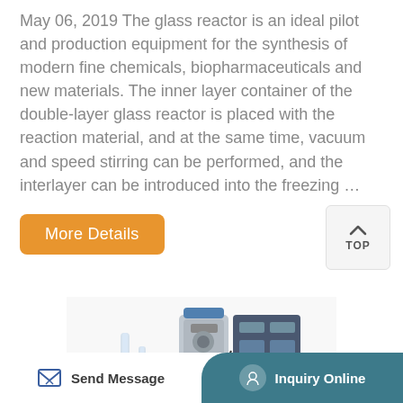May 06, 2019 The glass reactor is an ideal pilot and production equipment for the synthesis of modern fine chemicals, biopharmaceuticals and new materials. The inner layer container of the double-layer glass reactor is placed with the reaction material, and at the same time, vacuum and speed stirring can be performed, and the interlayer can be introduced into the freezing ...
[Figure (other): Orange rounded button labeled 'More Details']
[Figure (other): Gray square button with up arrow icon and text 'TOP']
[Figure (photo): Photo of a glass reactor laboratory equipment with motor, glass tubes, and control panel]
Send Message   Inquiry Online